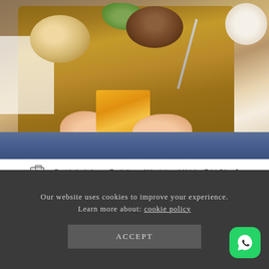[Figure (photo): Overhead view of person in blue jeans/shirt opening yellow cheese packet on a wooden cutting board, with bread roll, burger patty, lettuce leaves, a knife, and a coffee cup visible]
Rethinking Friday Nights With FitChef
The trick to leading a healthy and balanced lifestyle (as opposed to being on a restrictive diet) is to still allow yourself your favourite foods, but with real
Our website uses cookies to improve your experience. Learn more about: cookie policy
ACCEPT